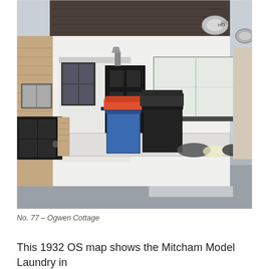[Figure (photo): Exterior photograph of a terraced house with white rendered facade, dark front door with lantern light, black wheelie bins in front, a gate on the left, satellite dishes on the roof, and large windows with white curtains.]
No. 77 – Ogwen Cottage
This 1932 OS map shows the Mitcham Model Laundry in